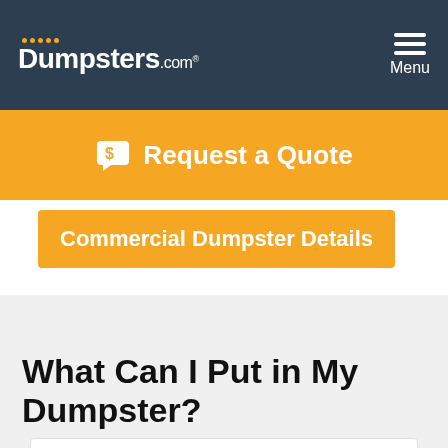Dumpsters.com — Menu
Request a Quote
Commercial Dumpster Details
What Can I Put in My Dumpster?
Residential & Constructio…